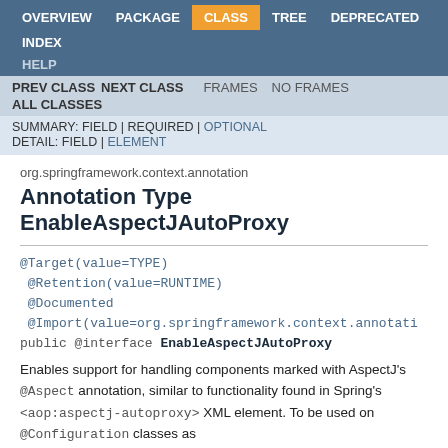OVERVIEW  PACKAGE  CLASS  TREE  DEPRECATED  INDEX  HELP
PREV CLASS  NEXT CLASS  FRAMES  NO FRAMES  ALL CLASSES
SUMMARY: FIELD | REQUIRED | OPTIONAL  DETAIL: FIELD | ELEMENT
org.springframework.context.annotation
Annotation Type EnableAspectJAutoProxy
@Target(value=TYPE)
 @Retention(value=RUNTIME)
 @Documented
 @Import(value=org.springframework.context.annotati
public @interface EnableAspectJAutoProxy
Enables support for handling components marked with AspectJ's @Aspect annotation, similar to functionality found in Spring's <aop:aspectj-autoproxy> XML element. To be used on @Configuration classes as